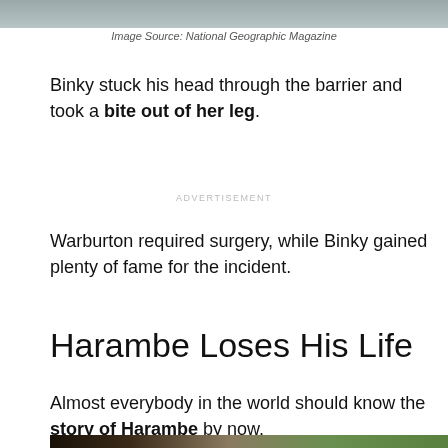[Figure (photo): Top portion of a photo, partially visible at the top of the page]
Image Source: National Geographic Magazine
Binky stuck his head through the barrier and took a bite out of her leg.
ADVERTISEMENT
Warburton required surgery, while Binky gained plenty of fame for the incident.
Harambe Loses His Life
Almost everybody in the world should know the story of Harambe by now.
[Figure (photo): Bottom portion — photo of Harambe the gorilla with green foliage in background, partially visible at bottom of page]